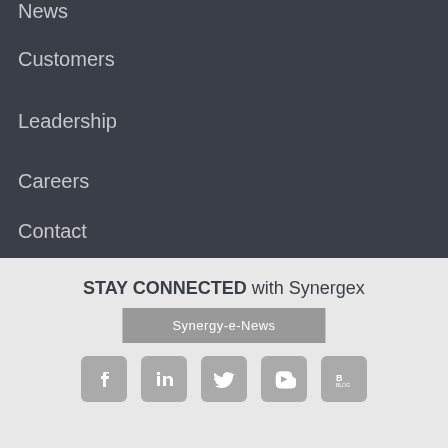News
Customers
Leadership
Careers
Contact
STAY CONNECTED with Synergex
Synergy-e-News
[Figure (infographic): Row of five social media icon buttons: Facebook, LinkedIn, Twitter, YouTube, Blog]